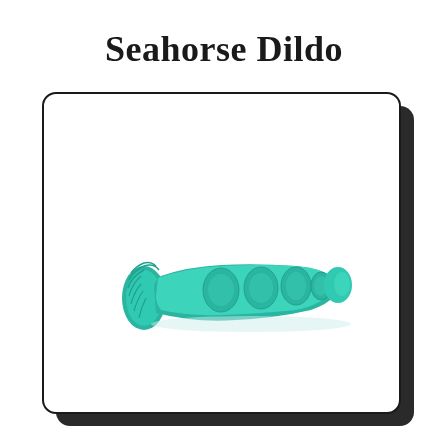Seahorse Dildo
[Figure (photo): A teal/turquoise silicone seahorse-themed dildo with textured oval bumps along the shaft and a curved base, shown in profile view against a white background inside a rounded-corner card with drop shadow.]